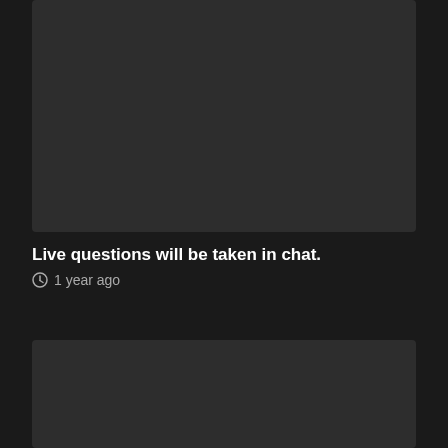[Figure (screenshot): Dark rounded rectangle card at top, representing a video or content thumbnail area]
Live questions will be taken in chat.
1 year ago
[Figure (screenshot): Dark rounded rectangle card at bottom, representing a video or content thumbnail area]